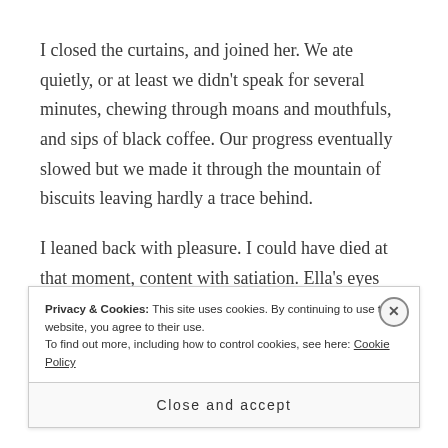I closed the curtains, and joined her. We ate quietly, or at least we didn't speak for several minutes, chewing through moans and mouthfuls, and sips of black coffee. Our progress eventually slowed but we made it through the mountain of biscuits leaving hardly a trace behind.
I leaned back with pleasure. I could have died at that moment, content with satiation. Ella's eyes were closed. She was beautiful.
Privacy & Cookies: This site uses cookies. By continuing to use this website, you agree to their use.
To find out more, including how to control cookies, see here: Cookie Policy
Close and accept